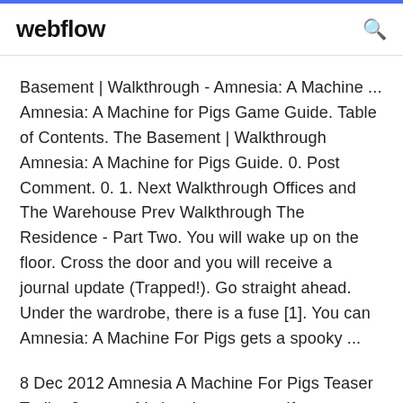webflow
Basement | Walkthrough - Amnesia: A Machine ... Amnesia: A Machine for Pigs Game Guide. Table of Contents. The Basement | Walkthrough Amnesia: A Machine for Pigs Guide. 0. Post Comment. 0. 1. Next Walkthrough Offices and The Warehouse Prev Walkthrough The Residence - Part Two. You will wake up on the floor. Cross the door and you will receive a journal update (Trapped!). Go straight ahead. Under the wardrobe, there is a fuse [1]. You can Amnesia: A Machine For Pigs gets a spooky ...
8 Dec 2012 Amnesia A Machine For Pigs Teaser Trailer 2 - www.frictionalgames.com If you